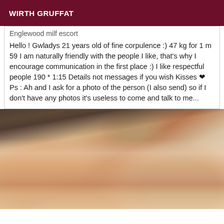WIRTH GRUFFAT
Englewood milf escort
Hello ! Gwladys 21 years old of fine corpulence :) 47 kg for 1 m 59 I am naturally friendly with the people I like, that's why I encourage communication in the first place :) I like respectful people 190 * 1:15 Details not messages if you wish Kisses ❤ Ps : Ah and I ask for a photo of the person (I also send) so if I don't have any photos it's useless to come and talk to me...
[Figure (photo): Close-up photo of a young woman with brown hair pulled back, showing the top of her head, ear, and closed/downcast eyes. Light skin tone. Background is light beige/gray.]